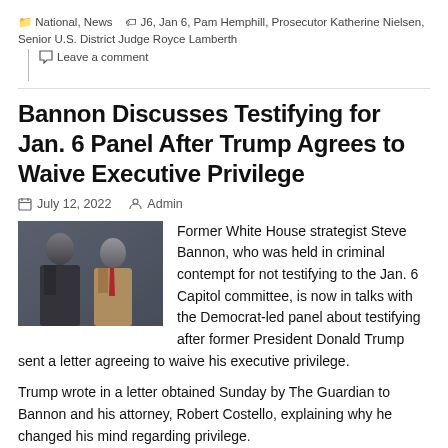National, News  J6, Jan 6, Pam Hemphill, Prosecutor Katherine Nielsen, Senior U.S. District Judge Royce Lamberth  Leave a comment
Bannon Discusses Testifying for Jan. 6 Panel After Trump Agrees to Waive Executive Privilege
July 12, 2022  Admin
[Figure (photo): Photo of Steve Bannon and Donald Trump]
Former White House strategist Steve Bannon, who was held in criminal contempt for not testifying to the Jan. 6 Capitol committee, is now in talks with the Democrat-led panel about testifying after former President Donald Trump sent a letter agreeing to waive his executive privilege.
Trump wrote in a letter obtained Sunday by The Guardian to Bannon and his attorney, Robert Costello, explaining why he changed his mind regarding privilege.